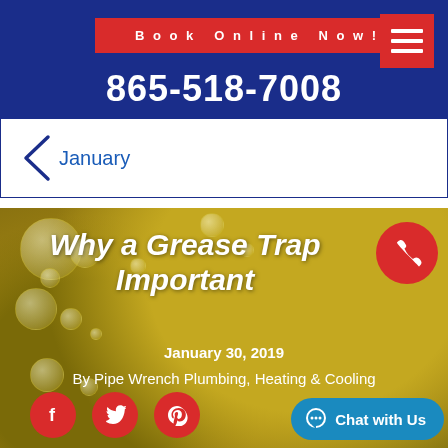Book Online Now! | 865-518-7008
< January
[Figure (screenshot): Hero image for blog post 'Why a Grease Trap Important' dated January 30, 2019, by Pipe Wrench Plumbing, Heating & Cooling. Background is a golden/olive grease oil surface with bubbles. Social sharing icons (Facebook, Twitter, Pinterest) and a Chat with Us button at bottom.]